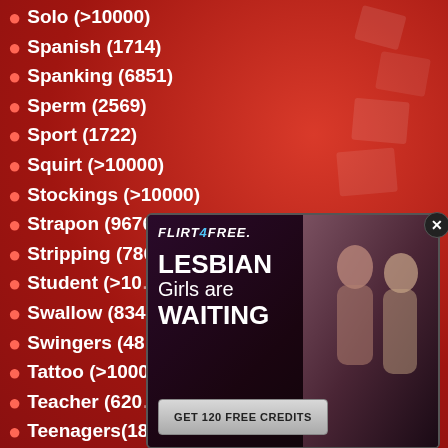Solo (>10000)
Spanish (1714)
Spanking (6851)
Sperm (2569)
Sport (1722)
Squirt (>10000)
Stockings (>10000)
Strapon (9676)
Stripping (7865)
Student (>10000)
Swallow (834)
Swingers (480)
Tattoo (>10000)
Teacher (620)
Teenagers(18+) (>10000)
Thong (2330)
Threesome (>10000)
Titjob (4912)
[Figure (screenshot): FLIRT4FREE advertisement overlay with text 'LESBIAN Girls are WAITING' and button 'GET 120 FREE CREDITS']